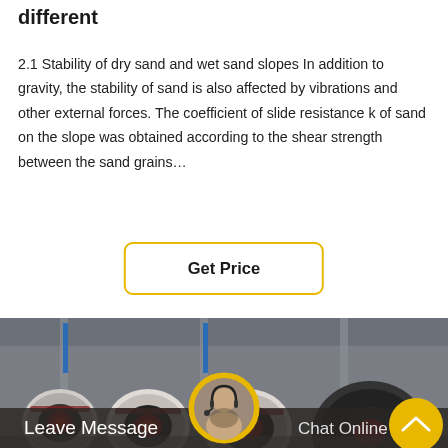different
2.1 Stability of dry sand and wet sand slopes In addition to gravity, the stability of sand is also affected by vibrations and other external forces. The coefficient of slide resistance k of sand on the slope was obtained according to the shear strength between the sand grains…
[Figure (other): A yellow-bordered 'Get Price' button centered on the page]
[Figure (photo): Industrial factory floor showing rows of large jaw crusher machines with red and black circular flywheel components, inside a large warehouse with steel frame structure. Overlaid with a customer service avatar in a yellow circle at the bottom center, and a yellow arrow button at bottom right. A dark overlay bar at the bottom reads 'Leave Message' on the left and 'Chat Online' on the right.]